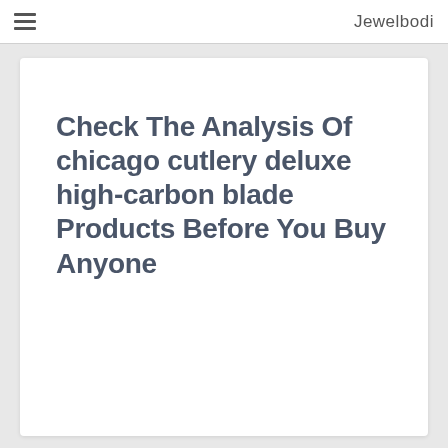Jewelbodi
Check The Analysis Of chicago cutlery deluxe high-carbon blade Products Before You Buy Anyone